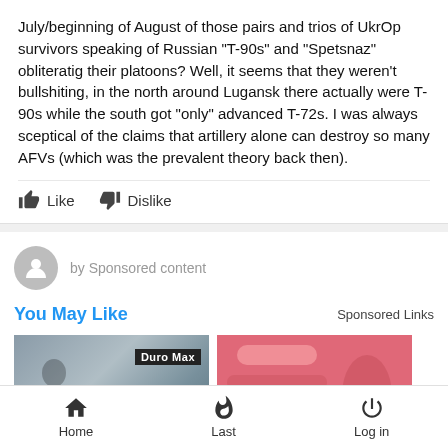July/beginning of August of those pairs and trios of UkrOp survivors speaking of Russian "T-90s" and "Spetsnaz" obliteratig their platoons? Well, it seems that they weren't bullshiting, in the north around Lugansk there actually were T-90s while the south got "only" advanced T-72s. I was always sceptical of the claims that artillery alone can destroy so many AFVs (which was the prevalent theory back then).
Like   Dislike
by Sponsored content
You May Like
Sponsored Links
[Figure (photo): Advertisement image left showing a person near a building with DuroMax branding]
[Figure (photo): Advertisement image right showing pink/meat-colored product with gloved hands]
Home   Last   Log in